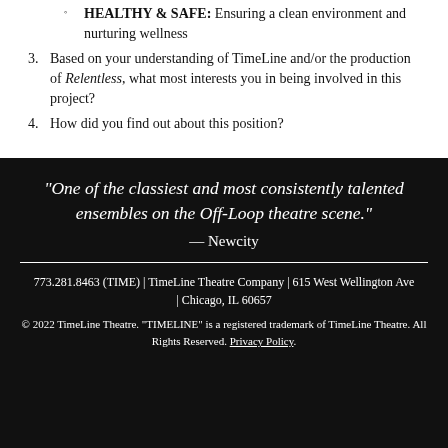HEALTHY & SAFE: Ensuring a clean environment and nurturing wellness
3. Based on your understanding of TimeLine and/or the production of Relentless, what most interests you in being involved in this project?
4. How did you find out about this position?
“One of the classiest and most consistently talented ensembles on the Off-Loop theatre scene.” — Newcity
773.281.8463 (TIME) | TimeLine Theatre Company | 615 West Wellington Ave | Chicago, IL 60657
© 2022 TimeLine Theatre. "TIMELINE" is a registered trademark of TimeLine Theatre. All Rights Reserved. Privacy Policy.